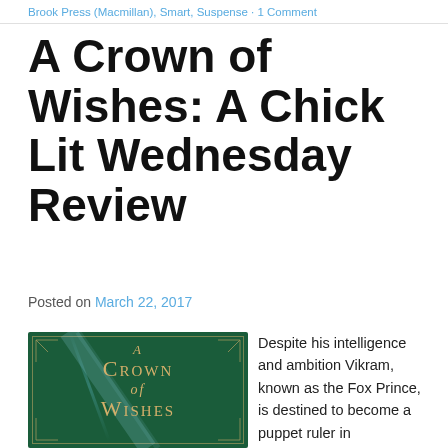Brook Press (Macmillan), Smart, Suspense · 1 Comment
A Crown of Wishes: A Chick Lit Wednesday Review
Posted on March 22, 2017
[Figure (illustration): Book cover of 'A Crown of Wishes' with dark green background, gold decorative border corners, golden title text in serif/small-caps font, and a diagonal light beam across the cover.]
Despite his intelligence and ambition Vikram, known as the Fox Prince, is destined to become a puppet ruler in